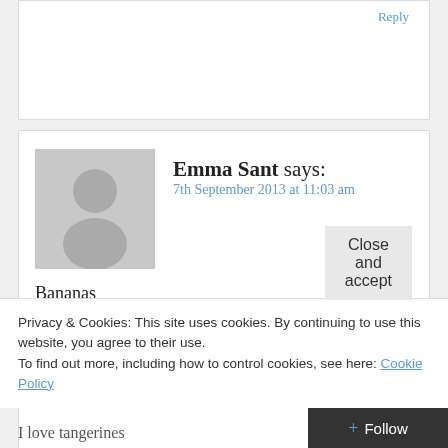Reply
Emma Sant says:
7th September 2013 at 11:03 am
Bananas
Loading...
Reply
Privacy & Cookies: This site uses cookies. By continuing to use this website, you agree to their use.
To find out more, including how to control cookies, see here: Cookie Policy
Close and accept
I love tangerines